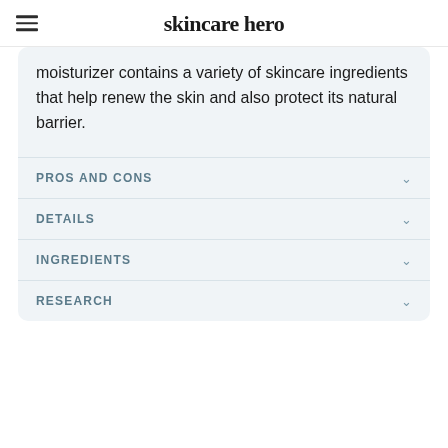skincare hero
moisturizer contains a variety of skincare ingredients that help renew the skin and also protect its natural barrier.
PROS AND CONS
DETAILS
INGREDIENTS
RESEARCH